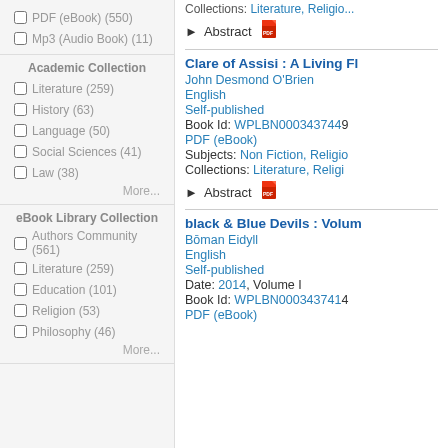PDF (eBook) (550)
Mp3 (Audio Book) (11)
Academic Collection
Literature (259)
History (63)
Language (50)
Social Sciences (41)
Law (38)
More...
eBook Library Collection
Authors Community (561)
Literature (259)
Education (101)
Religion (53)
Philosophy (46)
More...
Clare of Assisi : A Living F...
John Desmond O'Brien
English
Self-published
Book Id: WPLBN0003437449...
PDF (eBook)
Subjects: Non Fiction, Religio...
Collections: Literature, Religi...
Abstract
black & Blue Devils : Volum...
Bōman Eidyll
English
Self-published
Date: 2014, Volume I
Book Id: WPLBN0003437414...
PDF (eBook)